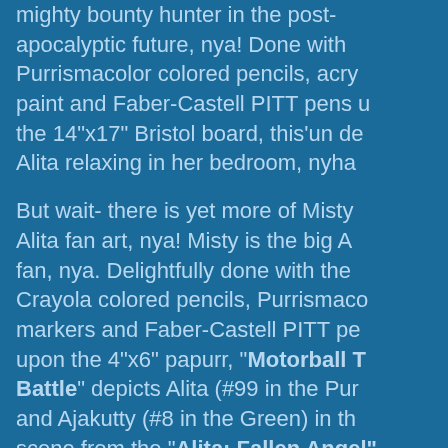mighty bounty hunter in the post-apocalyptic future, nya! Done with Purrismacolor colored pencils, acry paint and Faber-Castell PITT pens u the 14"x17" Bristol board, this'un de Alita relaxing in her bedroom, nyha
But wait- there is yet more of Misty Alita fan art, nya! Misty is the big A fan, nya. Delightfully done with the Crayola colored pencils, Purrismaco markers and Faber-Castell PITT pe upon the 4"x6" papurr, "Motorball T Battle" depicts Alita (#99 in the Pur and Ajakutty (#8 in the Green) in the scene from the "Alita: Fallen Angel" fic by Maxtac https://alitafallenangelfanfic.home. nya
To top off the latest additions to our